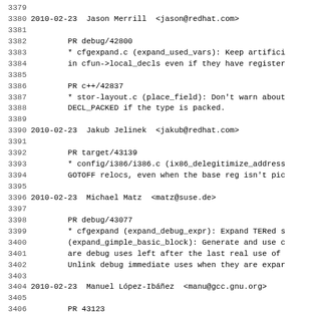3379
3380 2010-02-23  Jason Merrill  <jason@redhat.com>
3381
3382         PR debug/42800
3383         * cfgexpand.c (expand_used_vars): Keep artifici
3384         in cfun->local_decls even if they have register
3385
3386         PR c++/42837
3387         * stor-layout.c (place_field): Don't warn about
3388         DECL_PACKED if the type is packed.
3389
3390 2010-02-23  Jakub Jelinek  <jakub@redhat.com>
3391
3392         PR target/43139
3393         * config/i386/i386.c (ix86_delegitimize_address
3394         GOTOFF relocs, even when the base reg isn't pic
3395
3396 2010-02-23  Michael Matz  <matz@suse.de>
3397
3398         PR debug/43077
3399         * cfgexpand (expand_debug_expr): Expand TERed s
3400         (expand_gimple_basic_block): Generate and use c
3401         are debug uses left after the last real use of
3402         Unlink debug immediate uses when they are expar
3403
3404 2010-02-23  Manuel López-Ibáñez  <manu@gcc.gnu.org>
3405
3406         PR 43123
3407         * config/i386/i386.c (override_options): Reorga
3408         better error messages.
3409
3410 2010-02-22  Sebastian Pop  <sebastian.pop@amd.com>